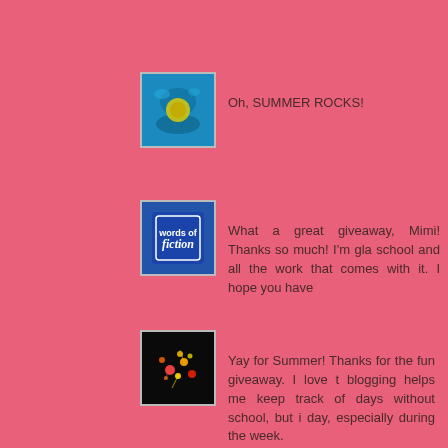[Figure (photo): Small avatar/profile image - tropical underwater/ocean scene]
Oh, SUMMER ROCKS!
[Figure (photo): Small avatar/profile image - blue background with fiction/book related logo]
What a great giveaway, Mimi! Thanks so much! I'm gla school and all the work that comes with it. I hope you have
[Figure (photo): Small avatar/profile image - dark background with colorful stars/fireworks]
Yay for Summer! Thanks for the fun giveaway. I love t blogging helps me keep track of days without school, but i day, especially during the week.

-lauren